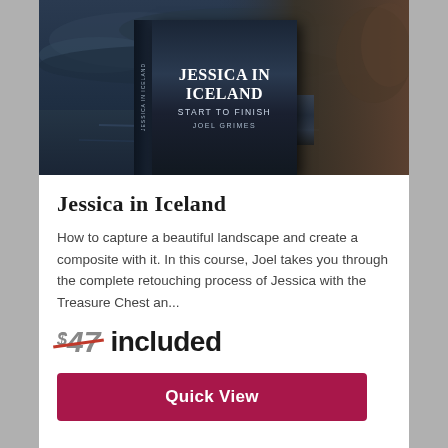[Figure (photo): Book cover for 'Jessica in Iceland: Start to Finish' by Joel Grimes, shown as a 3D book with dark moody background featuring a woman's face and landscape]
Jessica in Iceland
How to capture a beautiful landscape and create a composite with it. In this course, Joel takes you through the complete retouching process of Jessica with the Treasure Chest an...
$47 included
Quick View